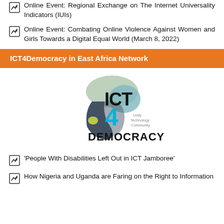Online Event: Regional Exchange on The Internet Universality Indicators (IUIs)
Online Event: Combating Online Violence Against Women and Girls Towards a Digital Equal World (March 8, 2022)
ICT4Democracy in East Africa Network
[Figure (logo): ICT4Democracy in East Africa Network logo showing a map of East Africa with the text ICT4Democracy and tagline Unity Technology Community]
'People With Disabilities Left Out in ICT Jamboree'
How Nigeria and Uganda are Faring on the Right to Information